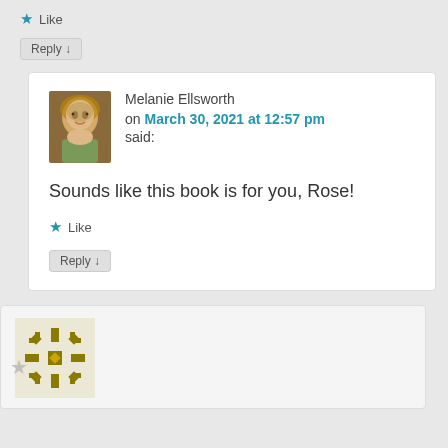★ Like
Reply ↓
Melanie Ellsworth on March 30, 2021 at 12:57 pm said:
Sounds like this book is for you, Rose!
★ Like
Reply ↓
[Figure (photo): Avatar photo of next commenter with geometric snowflake pattern in olive/gold color]